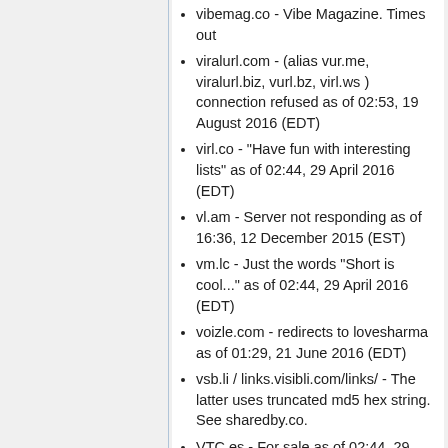vibemag.co - Vibe Magazine. Times out
viralurl.com - (alias vur.me, viralurl.biz, vurl.bz, virl.ws ) connection refused as of 02:53, 19 August 2016 (EDT)
virl.co - "Have fun with interesting lists" as of 02:44, 29 April 2016 (EDT)
vl.am - Server not responding as of 16:36, 12 December 2015 (EST)
vm.lc - Just the words "Short is cool..." as of 02:44, 29 April 2016 (EDT)
voizle.com - redirects to lovesharma as of 01:29, 21 June 2016 (EDT)
vsb.li / links.visibli.com/links/ - The latter uses truncated md5 hex string. See sharedby.co.
VTC.es - For sale as of 02:44, 29